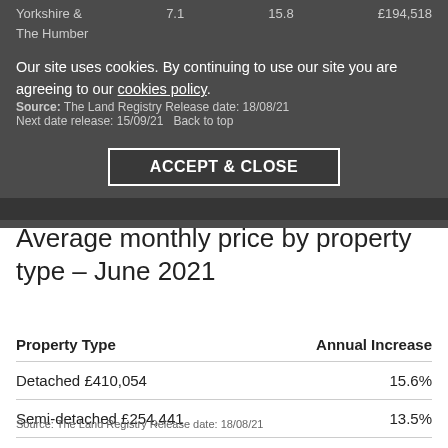|  |  |  |  |
| --- | --- | --- | --- |
| Yorkshire &
The Humber | 7.1 | 15.8 | £194,518 |
Source: The Land Registry Release date: 18/08/21
Next date release: 15/09/21  Back to top
Our site uses cookies. By continuing to use our site you are agreeing to our cookies policy.
ACCEPT & CLOSE
Average monthly price by property type – June 2021
| Property Type | Annual Increase |
| --- | --- |
| Detached £410,054 | 15.6% |
| Semi-detached £254,441 | 13.5% |
| Terraced £218,484 | 14.0% |
| Flat / maisonette £221,211 | 8.4% |
Source: The Land Registry Release date: 18/08/21